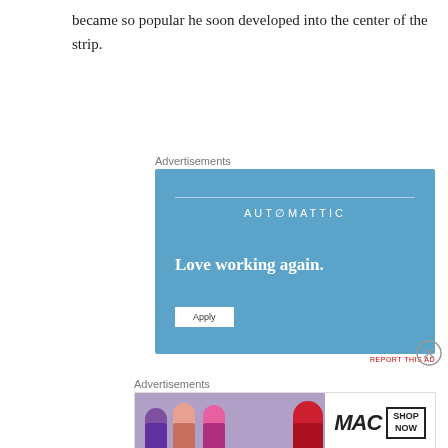became so popular he soon developed into the center of the strip.
Advertisements
[Figure (screenshot): Automattic advertisement with blue background, 'Love working again.' tagline, and Apply button]
REPORT THIS AD
Advertisements
[Figure (screenshot): MAC cosmetics advertisement showing lipsticks with MAC logo and SHOP NOW button]